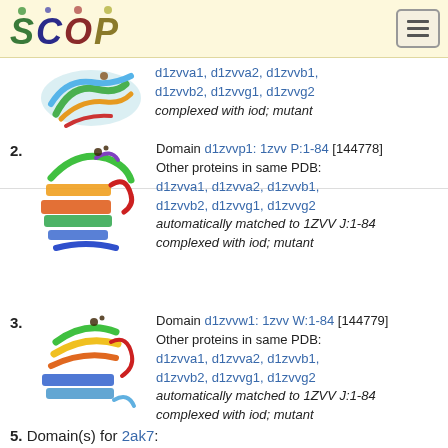SCOP logo and navigation
[Figure (illustration): Protein structure ribbon diagram for first entry (partial, top of page)]
d1zvva1, d1zvva2, d1zvvb1, d1zvvb2, d1zvvg1, d1zvvg2
complexed with iod; mutant
2. Domain d1zvvp1: 1zvv P:1-84 [144778]
Other proteins in same PDB:
d1zvva1, d1zvva2, d1zvvb1, d1zvvb2, d1zvvg1, d1zvvg2
automatically matched to 1ZVV J:1-84
complexed with iod; mutant
3. Domain d1zvvw1: 1zvv W:1-84 [144779]
Other proteins in same PDB:
d1zvva1, d1zvva2, d1zvvb1, d1zvvb2, d1zvvg1, d1zvvg2
automatically matched to 1ZVV J:1-84
complexed with iod; mutant
5. Domain(s) for 2ak7: